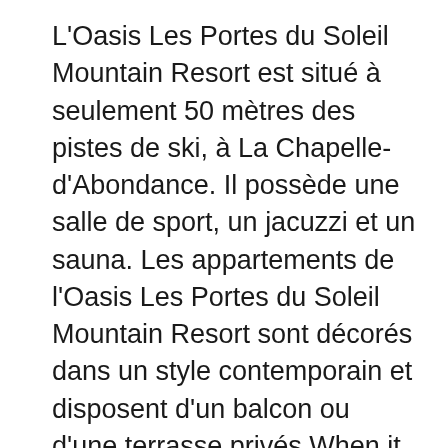L'Oasis Les Portes du Soleil Mountain Resort est situé à seulement 50 mètres des pistes de ski, à La Chapelle-d'Abondance. Il possède une salle de sport, un jacuzzi et un sauna. Les appartements de l'Oasis Les Portes du Soleil Mountain Resort sont décorés dans un style contemporain et disposent d'un balcon ou d'une terrasse privés When it comes to saunas, safety first. Here are the 9 rules of sauna safety. After a devastating end to the 2010 World Sauna Championships in Heinola, Finland, when finalist Vladimir Ladyzhenskiy from Russia died after being inside a blistering hot sauna for 6 minutes, the spotlight fell on sauna